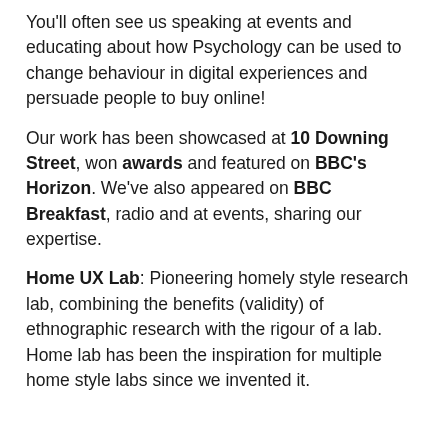You'll often see us speaking at events and educating about how Psychology can be used to change behaviour in digital experiences and persuade people to buy online!
Our work has been showcased at 10 Downing Street, won awards and featured on BBC's Horizon. We've also appeared on BBC Breakfast, radio and at events, sharing our expertise.
Home UX Lab: Pioneering homely style research lab, combining the benefits (validity) of ethnographic research with the rigour of a lab. Home lab has been the inspiration for multiple home style labs since we invented it.